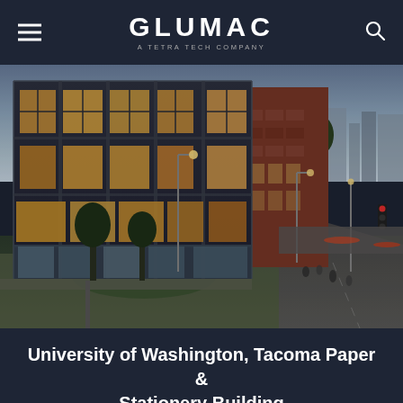GLUMAC — A TETRA TECH COMPANY
[Figure (photo): Aerial dusk photo of University of Washington Tacoma Paper & Stationery Building — a dark-facade multi-story academic building with illuminated windows, adjacent brick building, surrounding landscaping and city street at twilight]
University of Washington, Tacoma Paper & Stationery Building
VIEW PROJECT